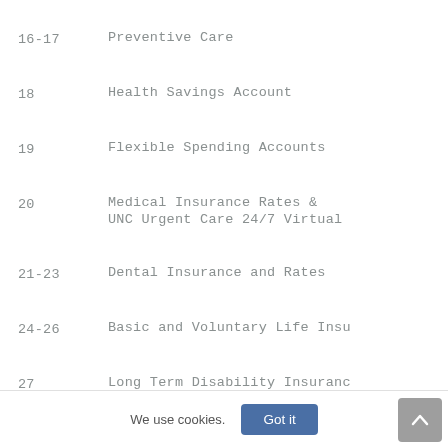16-17    Preventive Care
18    Health Savings Account
19    Flexible Spending Accounts
20    Medical Insurance Rates & UNC Urgent Care 24/7 Virtual
21-23    Dental Insurance and Rates
24-26    Basic and Voluntary Life Insu
27    Long Term Disability Insuranc
We use cookies.